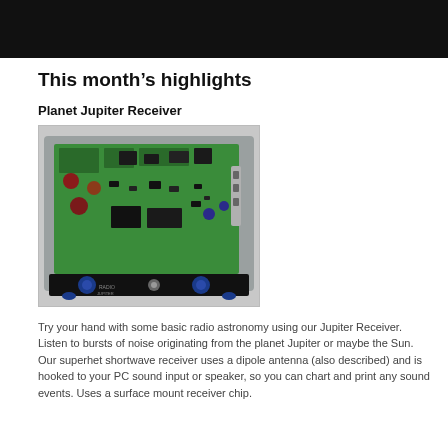[Figure (photo): Dark banner image at top of page, black background]
This month’s highlights
Planet Jupiter Receiver
[Figure (photo): Photo of the Planet Jupiter Receiver electronic circuit board in a metal enclosure with green PCB, black front panel, blue knobs, and various electronic components]
Try your hand with some basic radio astronomy using our Jupiter Receiver. Listen to bursts of noise originating from the planet Jupiter or maybe the Sun. Our superhet shortwave receiver uses a dipole antenna (also described) and is hooked to your PC sound input or speaker, so you can chart and print any sound events. Uses a surface mount receiver chip.